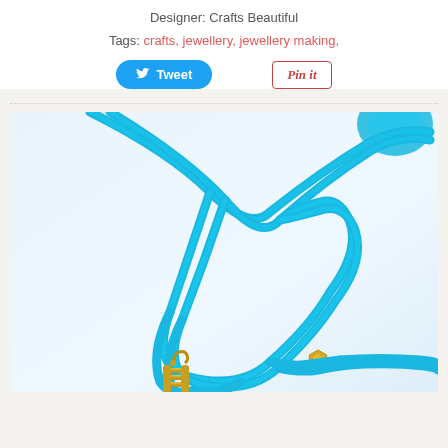Designer: Crafts Beautiful
Tags: crafts, jewellery, jewellery making,
[Figure (screenshot): Tweet button (Twitter/X blue rounded button) and Pin it button (Pinterest red outlined button)]
[Figure (photo): Close-up photo of a turquoise/teal rubber cord necklace with gold metal fittings (screw clasp and hexagonal bead) laid on a light blue-white surface. A blue bead is partially visible in the upper right corner.]